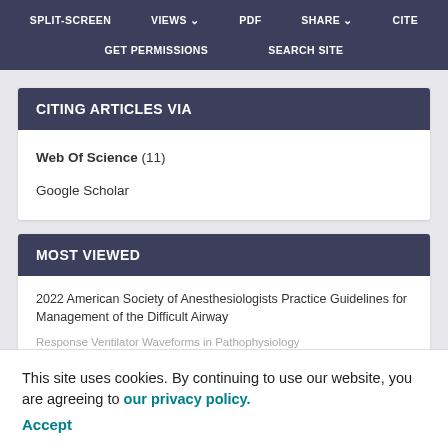SPLIT-SCREEN  VIEWS  PDF  SHARE  CITE
GET PERMISSIONS  SEARCH SITE
CITING ARTICLES VIA
Web Of Science (11)
Google Scholar
MOST VIEWED
2022 American Society of Anesthesiologists Practice Guidelines for Management of the Difficult Airway
This site uses cookies. By continuing to use our website, you are agreeing to our privacy policy. Accept